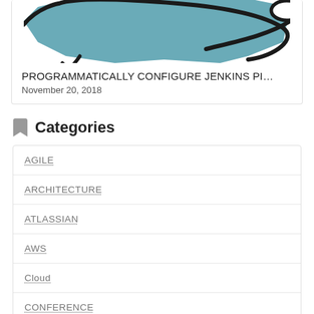[Figure (illustration): Partial view of a blue and black illustrated dog/animal graphic on a white card background]
PROGRAMMATICALLY CONFIGURE JENKINS PI…
November 20, 2018
Categories
AGILE
ARCHITECTURE
ATLASSIAN
AWS
Cloud
CONFERENCE
Conferences & Events